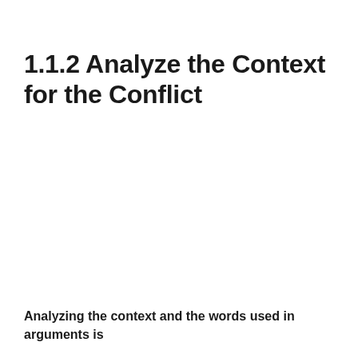1.1.2 Analyze the Context for the Conflict
Analyzing the context and the words used in arguments is